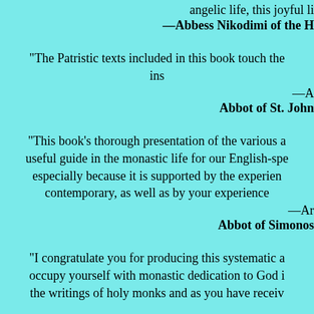angelic life, this joyful li
—Abbess Nikodimi of the H
"The Patristic texts included in this book touch the ins
—A Abbot of St. John
"This book's thorough presentation of the various a useful guide in the monastic life for our English-spe especially because it is supported by the experien contemporary, as well as by your experience
—Ar Abbot of Simonos
"I congratulate you for producing this systematic a occupy yourself with monastic dedication to God i the writings of holy monks and as you have receiv